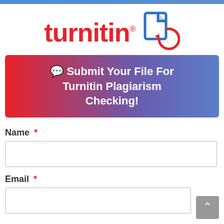[Figure (logo): Turnitin logo with stylized red text 'turnitin' and a blue document/refresh icon with red circular arrow]
💬 Submit Your File For Turnitin Plagiarism Checking!
Name *
Email *